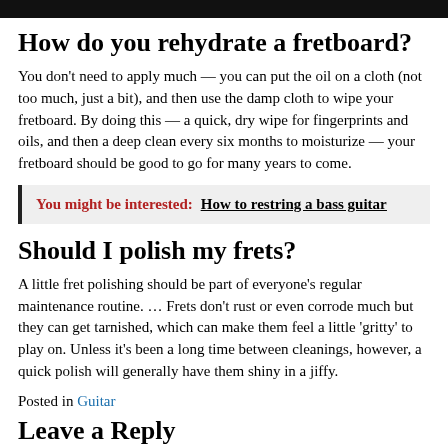How do you rehydrate a fretboard?
You don’t need to apply much — you can put the oil on a cloth (not too much, just a bit), and then use the damp cloth to wipe your fretboard. By doing this — a quick, dry wipe for fingerprints and oils, and then a deep clean every six months to moisturize — your fretboard should be good to go for many years to come.
You might be interested:  How to restring a bass guitar
Should I polish my frets?
A little fret polishing should be part of everyone’s regular maintenance routine. … Frets don’t rust or even corrode much but they can get tarnished, which can make them feel a little ‘gritty’ to play on. Unless it’s been a long time between cleanings, however, a quick polish will generally have them shiny in a jiffy.
Posted in Guitar
Leave a Reply